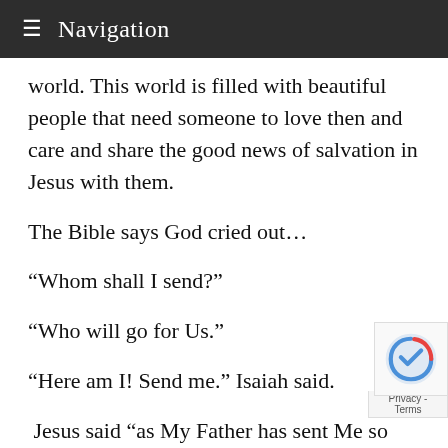Navigation
world. This world is filled with beautiful people that need someone to love then and care and share the good news of salvation in Jesus with them.
The Bible says God cried out…
“Whom shall I send?”
“Who will go for Us.”
“Here am I! Send me.” Isaiah said.
Jesus said “as My Father has sent Me so send I you.”
Jesus said; “The harvest truly is plentiful, but the laborers are few.
Therefore pray the Lord of the harvest to send out